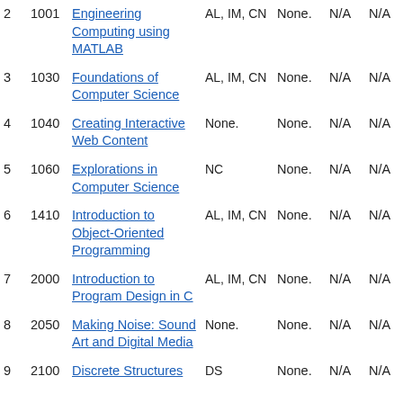| # | Course# | Course Name | Attributes | Pre-req | Col1 | Col2 |
| --- | --- | --- | --- | --- | --- | --- |
| 2 | 1001 | Engineering Computing using MATLAB | AL, IM, CN | None. | N/A | N/A |
| 3 | 1030 | Foundations of Computer Science | AL, IM, CN | None. | N/A | N/A |
| 4 | 1040 | Creating Interactive Web Content | None. | None. | N/A | N/A |
| 5 | 1060 | Explorations in Computer Science | NC | None. | N/A | N/A |
| 6 | 1410 | Introduction to Object-Oriented Programming | AL, IM, CN | None. | N/A | N/A |
| 7 | 2000 | Introduction to Program Design in C | AL, IM, CN | None. | N/A | N/A |
| 8 | 2050 | Making Noise: Sound Art and Digital Media | None. | None. | N/A | N/A |
| 9 | 2100 | Discrete Structures | DS | None. | N/A | N/A |